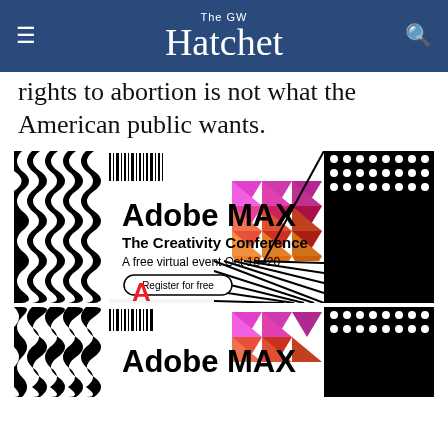The GW Hatchet
rights to abortion is not what the American public wants.
[Figure (illustration): Adobe MAX – The Creativity Conference advertisement. A free virtual event Oct 18–20. Register for free. Adobe logo visible. Black and white geometric patterns on left and right, colorful triangles on right side. Rainbow stripe at bottom.]
[Figure (illustration): Second Adobe MAX advertisement, partially visible, same design as above.]